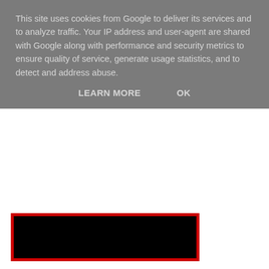This site uses cookies from Google to deliver its services and to analyze traffic. Your IP address and user-agent are shared with Google along with performance and security metrics to ensure quality of service, generate usage statistics, and to detect and address abuse.
LEARN MORE   OK
[Figure (other): Black image with red border, partially visible behind cookie overlay]
Source: The Sales Director News
Aaron Wallis at 08:21    No comments:
Share
Tuesday, 26 June 2012
Charm and persistence 'the keys to career success'